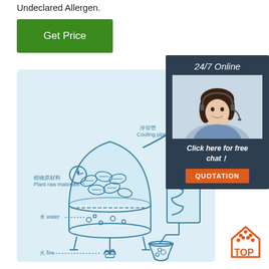Undeclared Allergen.
Get Price
[Figure (engineering-diagram): Diagram of a distillation apparatus showing plant raw materials and water in a heated vessel, connected via cooling pipe to a coiled radiator, with hydrosol output. Labels in Chinese and English: 冷却管 Cooling pipe, 散热 Radiator, 植物原材料 Plant raw materials, 水 water, 火 fire, 纯露 Hydrosol.]
24/7 Online
[Figure (photo): Photo of a smiling woman with headset for customer service chat.]
Click here for free chat！
QUOTATION